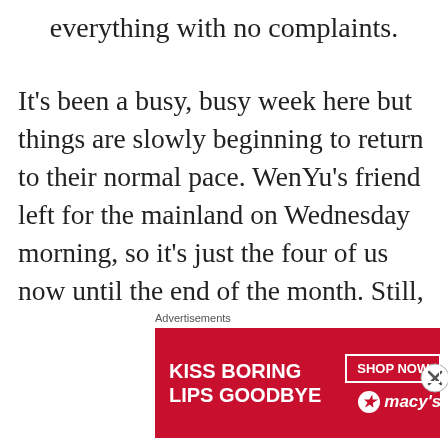everything with no complaints.
It’s been a busy, busy week here but things are slowly beginning to return to their normal pace. WenYu’s friend left for the mainland on Wednesday morning, so it’s just the four of us now until the end of the month. Still, there have been lots of extra errands and running around, and there are more things coming up on the schedule this
[Figure (infographic): Macy's lipstick advertisement banner with text 'KISS BORING LIPS GOODBYE' and 'SHOP NOW' button with Macy's star logo on red background]
Advertisements